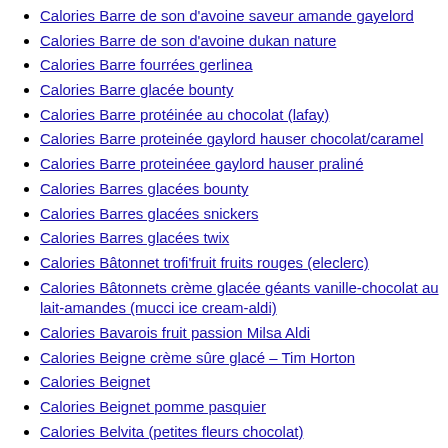Calories Barre de son d'avoine saveur amande gayelord
Calories Barre de son d'avoine dukan nature
Calories Barre fourrées gerlinea
Calories Barre glacée bounty
Calories Barre protéinée au chocolat (lafay)
Calories Barre proteinée gaylord hauser chocolat/caramel
Calories Barre proteinéee gaylord hauser praliné
Calories Barres glacées bounty
Calories Barres glacées snickers
Calories Barres glacées twix
Calories Bâtonnet trofi'fruit fruits rouges (eleclerc)
Calories Bâtonnets crème glacée géants vanille-chocolat au lait-amandes (mucci ice cream-aldi)
Calories Bavarois fruit passion Milsa Aldi
Calories Beigne crème sûre glacé – Tim Horton
Calories Beignet
Calories Beignet pomme pasquier
Calories Belvita (petites fleurs chocolat)
Calories Ben & Jerry's Peanut butter
Calories Benoiton complet aux fruits (paul)
Calories Benoiton complet aux pépites de chocolat (paul)